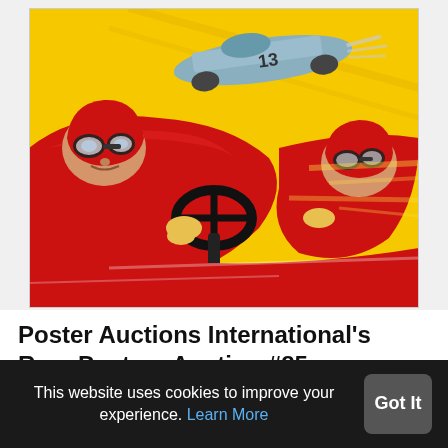[Figure (illustration): Vintage racing poster illustration showing two race car drivers in red helmets and goggles in red racing cars, with a silver car numbered 13 in the background on a yellow background. Action-packed motion lines emphasize speed.]
Poster Auctions International's Rare Posters Auction #85
$2.5 million (partially visible)
This website uses cookies to improve your experience. Learn More